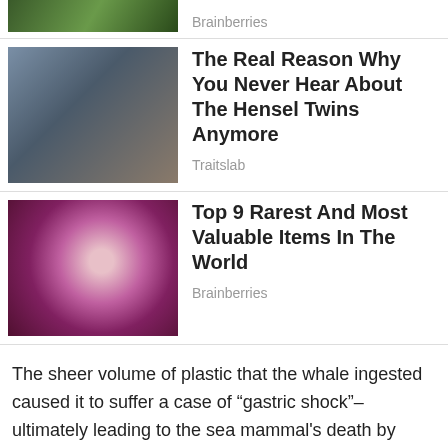[Figure (photo): Partial top of a photo showing foliage/nature scene, cropped]
Brainberries
[Figure (photo): Photo of two young women/girls (Hensel twins) against dark background]
The Real Reason Why You Never Hear About The Hensel Twins Anymore
Traitslab
[Figure (photo): Photo of a red/pink gemstone held in someone's hand]
Top 9 Rarest And Most Valuable Items In The World
Brainberries
The sheer volume of plastic that the whale ingested caused it to suffer a case of “gastric shock”–ultimately leading to the sea mammal's death by dehydration and starvation. The whale–like other aquatic mammals including dolphins–belongs to the family of cetaceans, which obtain water from the food they eat rather than the water in the ocean.